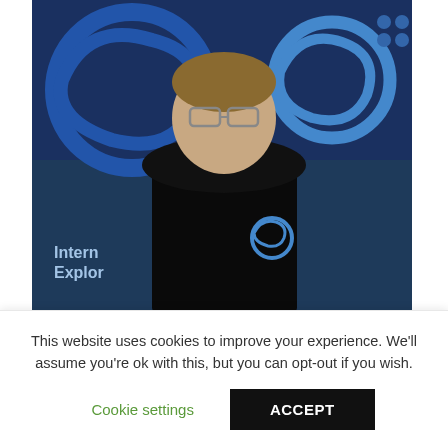[Figure (photo): Photo of a man wearing glasses and a black polo shirt with Internet Explorer logo, standing in front of blue Internet Explorer banners and logos. Bill Gates announcing an Internet Explorer update in 1997.]
Bill Gates announces an Internet Explorer update in 1997. Credit:AP
IE's demise was not a surprise. A year ago, Microsoft said that it was putting an end to Internet Explorer on June 15, 2022, pushing users to its Edge browser, which was launched in 2015.
This website uses cookies to improve your experience. We'll assume you're ok with this, but you can opt-out if you wish.